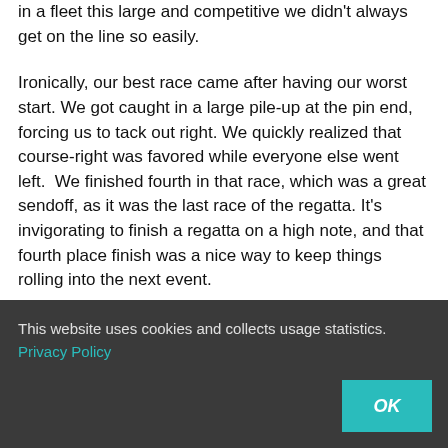in a fleet this large and competitive we didn't always get on the line so easily.
Ironically, our best race came after having our worst start. We got caught in a large pile-up at the pin end, forcing us to tack out right. We quickly realized that course-right was favored while everyone else went left.  We finished fourth in that race, which was a great sendoff, as it was the last race of the regatta. It's invigorating to finish a regatta on a high note, and that fourth place finish was a nice way to keep things rolling into the next event.
During the regatta, we also focused on keeping the boat moving through the chop. Annapolis is notorious for light
This website uses cookies and collects usage statistics. Privacy Policy